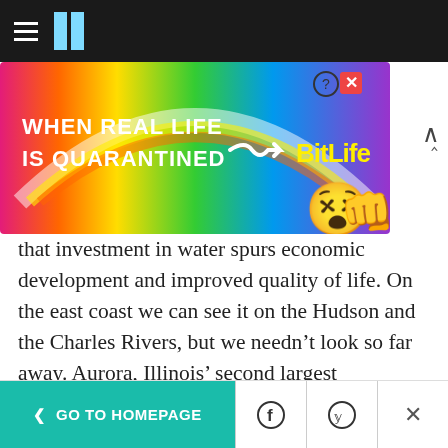HuffPost navigation bar
[Figure (screenshot): BitLife game advertisement banner: rainbow gradient background with text 'WHEN REAL LIFE IS QUARANTINED' and BitLife logo, emoji characters, close/info buttons]
that investment in water spurs economic development and improved quality of life. On the east coast we can see it on the Hudson and the Charles Rivers, but we needn't look so far away. Aurora, Illinois' second largest community, is in the midst of a downtown renaissance that comes largely out of a campaign to clean up and embrace the Fox River. Chicago's embrace of the Lakefront is one of the key decisions that has differentiated this great metropolis from other industrial cities in the region that are still in
< GO TO HOMEPAGE  [Facebook] [Twitter] X